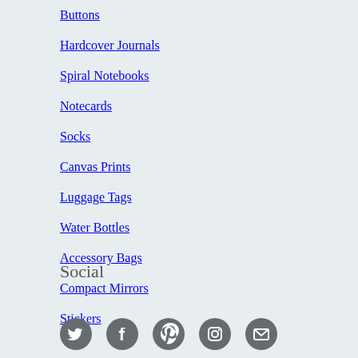Buttons
Hardcover Journals
Spiral Notebooks
Notecards
Socks
Canvas Prints
Luggage Tags
Water Bottles
Accessory Bags
Compact Mirrors
Stickers
Social
[Figure (illustration): Five social media icons (Twitter, Facebook, Pinterest, Instagram, Email) as dark grey circles with white symbols]